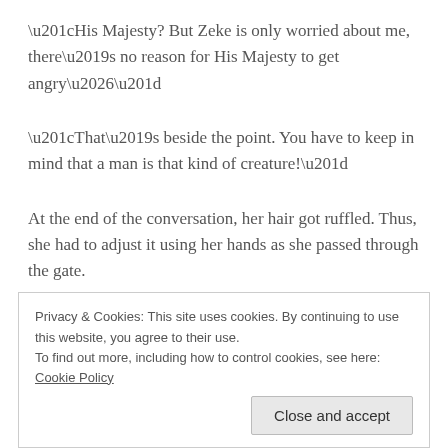“His Majesty? But Zeke is only worried about me, there’s no reason for His Majesty to get angry…”
“That’s beside the point. You have to keep in mind that a man is that kind of creature!”
At the end of the conversation, her hair got ruffled. Thus, she had to adjust it using her hands as she passed through the gate.
Privacy & Cookies: This site uses cookies. By continuing to use this website, you agree to their use.
To find out more, including how to control cookies, see here: Cookie Policy
Close and accept